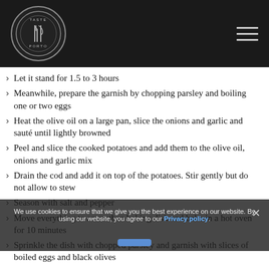Taste Porto logo and navigation menu
Let it stand for 1.5 to 3 hours
Meanwhile, prepare the garnish by chopping parsley and boiling one or two eggs
Heat the olive oil on a large pan, slice the onions and garlic and sauté until lightly browned
Peel and slice the cooked potatoes and add them to the olive oil, onions and garlic mix
Drain the cod and add it on top of the potatoes. Stir gently but do not allow to stew
Season with salt and pepper
Move everything to an earthen baking dish and bake in a hot oven for 10 minutes
Sprinkle the dish with chopped parsley and garnish with slices of boiled eggs and black olives
Serve very hot and enjoy it!
Bom apetite!